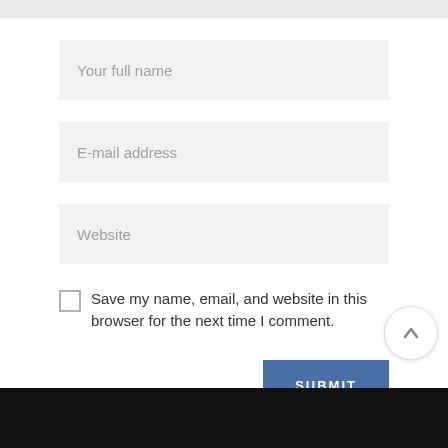Your full name
E-mail address
Website
Save my name, email, and website in this browser for the next time I comment.
SUBMIT